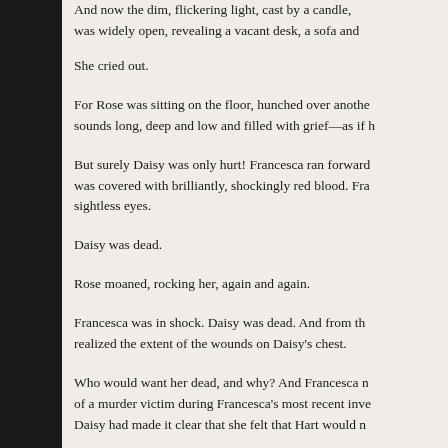And now the dim, flickering light, cast by a candle, was widely open, revealing a vacant desk, a sofa and
She cried out.
For Rose was sitting on the floor, hunched over anothe sounds long, deep and low and filled with grief—as if h
But surely Daisy was only hurt! Francesca ran forward was covered with brilliantly, shockingly red blood. Fra sightless eyes.
Daisy was dead.
Rose moaned, rocking her, again and again.
Francesca was in shock. Daisy was dead. And from th realized the extent of the wounds on Daisy's chest.
Who would want her dead, and why? And Francesca n of a murder victim during Francesca's most recent inve Daisy had made it clear that she felt that Hart would n